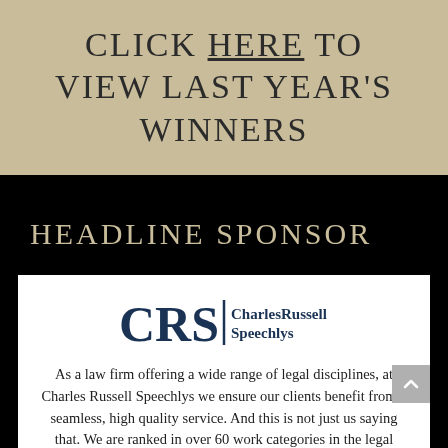CLICK HERE TO VIEW LAST YEAR'S WINNERS
HEADLINE SPONSOR
[Figure (logo): Charles Russell Speechlys CRS logo — stylized CRS letters with vertical bar and company name]
As a law firm offering a wide range of legal disciplines, at Charles Russell Speechlys we ensure our clients benefit from a seamless, high quality service. And this is not just us saying that. We are ranked in over 60 work categories in the legal directories and